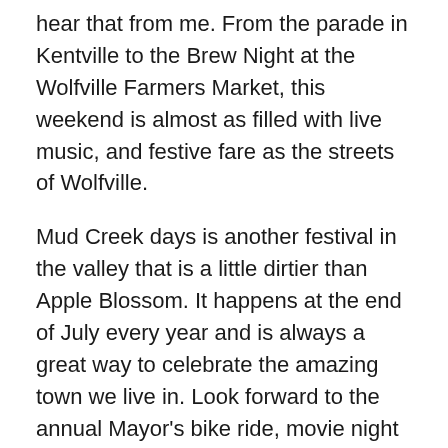hear that from me. From the parade in Kentville to the Brew Night at the Wolfville Farmers Market, this weekend is almost as filled with live music, and festive fare as the streets of Wolfville.
Mud Creek days is another festival in the valley that is a little dirtier than Apple Blossom. It happens at the end of July every year and is always a great way to celebrate the amazing town we live in. Look forward to the annual Mayor's bike ride, movie night in Clock Park, FREE pancake breakfasts, art festivals, tennis tournaments, fireworks and throwing a little mud around.
The Valley Summer Theatre is a great way to